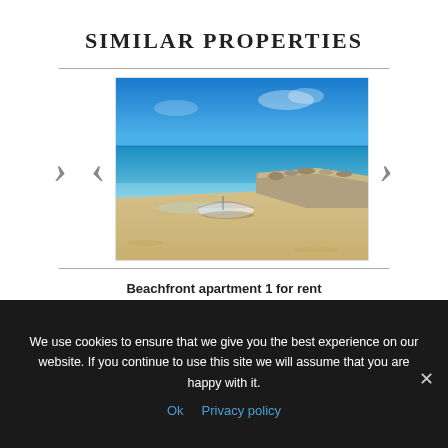SIMILAR PROPERTIES
[Figure (photo): Beachfront scene with clear blue sky, turquoise sea, sandy beach with a small white boat, and a stone jetty extending into the water.]
Beachfront apartment 1 for rent
Podstrana Split
We use cookies to ensure that we give you the best experience on our website. If you continue to use this site we will assume that you are happy with it.
Ok   Privacy policy